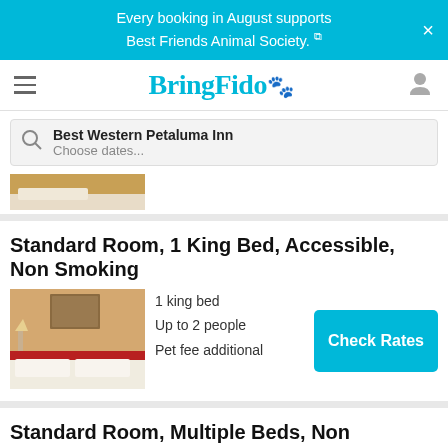Every booking in August supports Best Friends Animal Society.
BringFido
Best Western Petaluma Inn
Choose dates...
Standard Room, 1 King Bed, Accessible, Non Smoking
[Figure (photo): Hotel room with king bed, white bedding with red accent, warm lighting]
1 king bed
Up to 2 people
Pet fee additional
Check Rates
Standard Room, Multiple Beds, Non Smoking, Microwave (Oversized Room)
[Figure (photo): Partial hotel room photo]
2 king beds